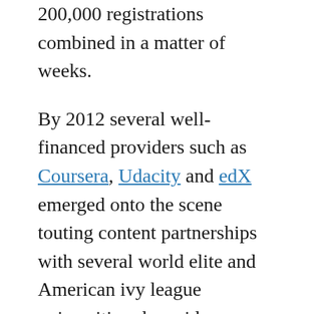200,000 registrations combined in a matter of weeks.
By 2012 several well-financed providers such as Coursera, Udacity and edX emerged onto the scene touting content partnerships with several world elite and American ivy league universities alongside a multitude of lower tier university  and independently developed courses. For this article's purpose we'd like to focus on what these MOOC courses mean for students and young professionals in Africa at